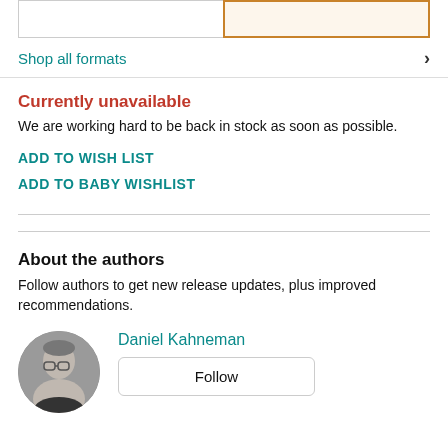Shop all formats
Currently unavailable
We are working hard to be back in stock as soon as possible.
ADD TO WISH LIST
ADD TO BABY WISHLIST
About the authors
Follow authors to get new release updates, plus improved recommendations.
Daniel Kahneman
Follow